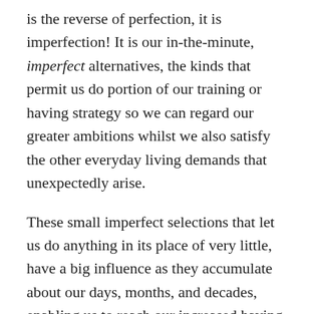is the reverse of perfection, it is imperfection! It is our in-the-minute, imperfect alternatives, the kinds that permit us do portion of our training or having strategy so we can regard our greater ambitions whilst we also satisfy the other everyday living demands that unexpectedly arise.
These small imperfect selections that let us do anything in its place of very little, have a big influence as they accumulate about our days, months, and decades, enabling us to reach our increased having and workout ambitions mainly because they continue to keep us relocating ahead in spite of and by way of the unanticipated.
Analysis reveals when it comes to how we react to troubles to our eating and physical exercise options,